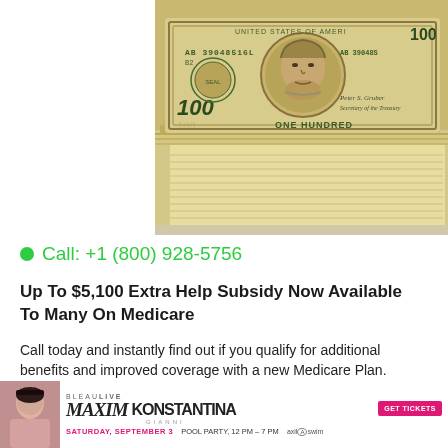[Figure (photo): Stack of US $100 dollar bills fanned out showing Benjamin Franklin portrait and serial number AB 39048516L]
Call: +1 (800) 928-5756
Up To $5,100 Extra Help Subsidy Now Available To Many On Medicare
Call today and instantly find out if you qualify for additional benefits and improved coverage with a new Medicare Plan.
[Figure (other): Blue CALL NOW button with phone icon]
[Figure (other): Advertisement banner for BLEAULIVE MAXIM KONSTANTINA GIANNI event Saturday September 3 Pool Party 12PM-7PM with GET TICKETS button and axil swim logo]